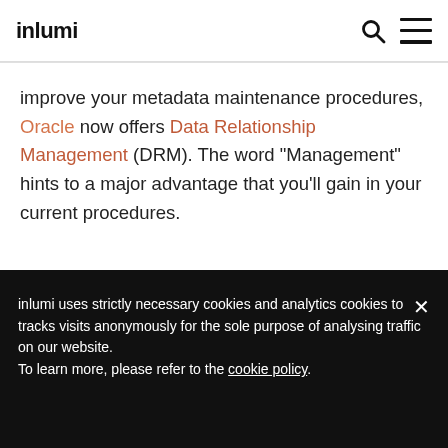inlumi
improve your metadata maintenance procedures, Oracle now offers Data Relationship Management (DRM). The word “Management” hints to a major advantage that you’ll gain in your current procedures.
READ MORE >
inlumi uses strictly necessary cookies and analytics cookies to tracks visits anonymously for the sole purpose of analysing traffic on our website.
To learn more, please refer to the cookie policy.